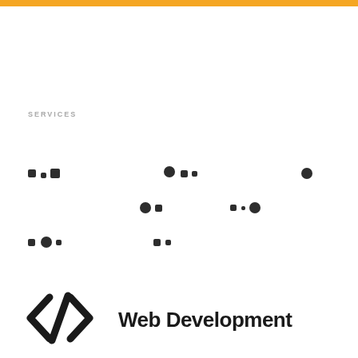SERVICES
[Figure (illustration): Dot/pixel pattern decoration consisting of three rows of small square dots arranged in a scattered grid pattern]
[Figure (illustration): Code bracket icon </> representing web development]
Web Development